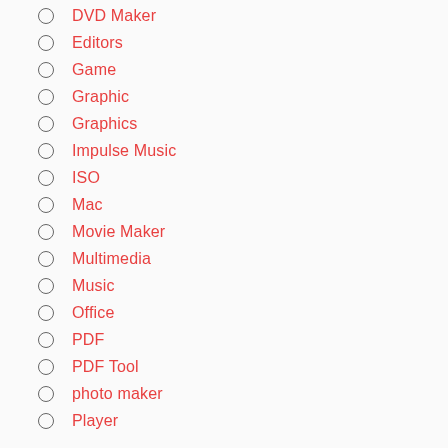DVD Maker
Editors
Game
Graphic
Graphics
Impulse Music
ISO
Mac
Movie Maker
Multimedia
Music
Office
PDF
PDF Tool
photo maker
Player